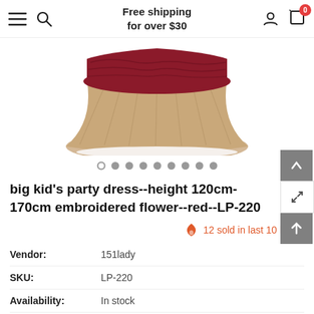Free shipping for over $30
[Figure (photo): Bottom portion of a children's party dress with dark red/burgundy embroidered lace top layer and light pink/champagne satin skirt with pleating.]
big kid's party dress--height 120cm-170cm embroidered flower--red--LP-220
12 sold in last 10 hours
| Vendor: | 151lady |
| SKU: | LP-220 |
| Availability: | In stock |
| Product Type: | kid's dress |